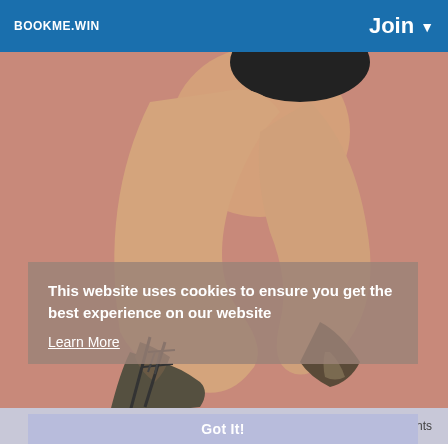BOOKME.WIN   Join ▼
[Figure (photo): Woman's legs wearing high heel platform sandals, crouching on a pink/peach background]
This website uses cookies to ensure you get the best experience on our website
Learn More
0 Comments
Got It!
NEW ALERT!